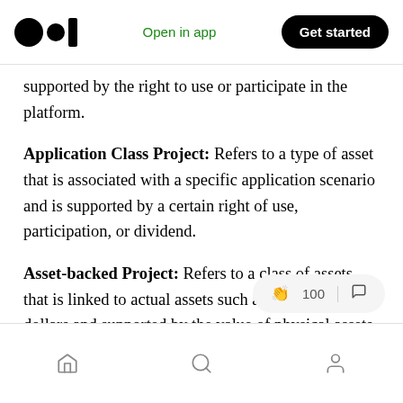Open in app | Get started
supported by the right to use or participate in the platform.
Application Class Project: Refers to a type of asset that is associated with a specific application scenario and is supported by a certain right of use, participation, or dividend.
Asset-backed Project: Refers to a class of assets that is linked to actual assets such as gold and US dollars and supported by the value of physical assets.
Home | Search | Profile